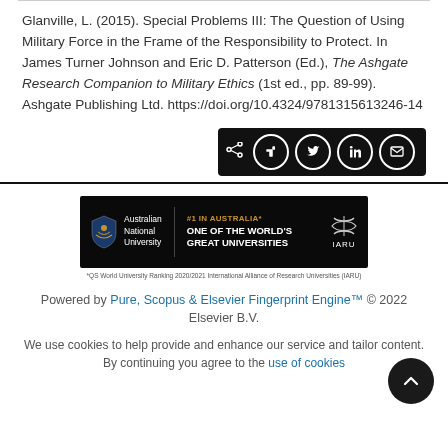Glanville, L. (2015). Special Problems III: The Question of Using Military Force in the Frame of the Responsibility to Protect. In James Turner Johnson and Eric D. Patterson (Ed.), The Ashgate Research Companion to Military Ethics (1st ed., pp. 89-99). Ashgate Publishing Ltd. https://doi.org/10.4324/9781315613246-14
[Figure (other): Social sharing buttons bar with share, Facebook, Twitter, LinkedIn, and email icons on black background]
[Figure (logo): Australian National University banner: #1 IN AUSTRALIA* ONE OF THE WORLD'S GREAT UNIVERSITIES IARU logo]
*QS World University Ranking 2020/2021 International Alliance of Research Universities (IARU)
Powered by Pure, Scopus & Elsevier Fingerprint Engine™ © 2022 Elsevier B.V.
We use cookies to help provide and enhance our service and tailor content. By continuing you agree to the use of cookies